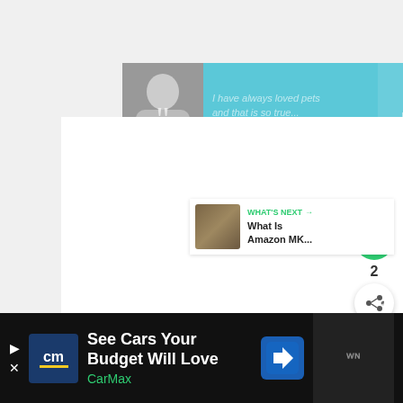[Figure (screenshot): Top banner advertisement for Dave Thomas Foundation for Adoption. Shows a black-and-white photo of a woman with a large quotation mark, teal background with partially visible quote text, and red Dave Thomas Foundation for Adoption logo on the right. Has an X close button in the top right corner.]
[Figure (screenshot): Social engagement buttons on the right side: a green circular heart/like button, the number 2 below it, and a white circular share button with a network share icon.]
[Figure (screenshot): What's Next recommendation card showing a thumbnail image and text 'WHAT'S NEXT → What Is Amazon MK...']
[Figure (screenshot): Bottom advertisement bar for CarMax. Dark background with CarMax logo (cm letters), text 'See Cars Your Budget Will Love', 'CarMax' in green, a blue navigation arrow icon, and a media player UI on the right.]